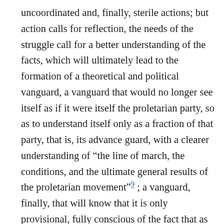uncoordinated and, finally, sterile actions; but action calls for reflection, the needs of the struggle call for a better understanding of the facts, which will ultimately lead to the formation of a theoretical and political vanguard, a vanguard that would no longer see itself as if it were itself the proletarian party, so as to understand itself only as a fraction of that party, that is, its advance guard, with a clearer understanding of “the line of march, the conditions, and the ultimate general results of the proletarian movement”⁹ ; a vanguard, finally, that will know that it is only provisional, fully conscious of the fact that as the movement becomes stronger and more inclusive and the nearer the revolutionary conclusion approaches, the more the situation will mature whereby it will work for its own disappearance, as the growing communist consciousness of the masses will render it superfluous